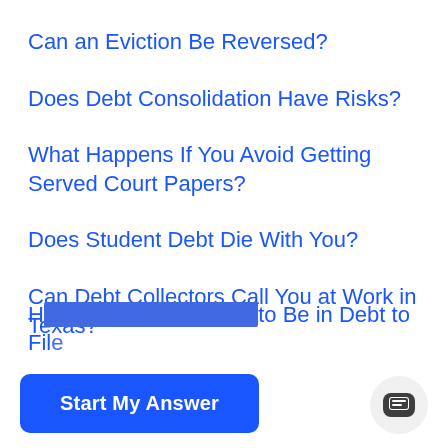Can an Eviction Be Reversed?
Does Debt Consolidation Have Risks?
What Happens If You Avoid Getting Served Court Papers?
Does Student Debt Die With You?
Can Debt Collectors Call You at Work in Texas?
How Much Do You Have to Be in Debt to File…
Start My Answer